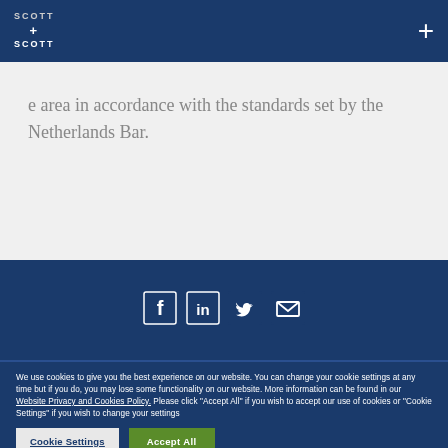SCOTT + SCOTT
e area in accordance with the standards set by the Netherlands Bar.
[Figure (other): Social media icons: Facebook, LinkedIn, Twitter, Email]
We use cookies to give you the best experience on our website. You can change your cookie settings at any time but if you do, you may lose some functionality on our website. More information can be found in our Website Privacy and Cookies Policy. Please click "Accept All" if you wish to accept our use of cookies or "Cookie Settings" if you wish to change your settings